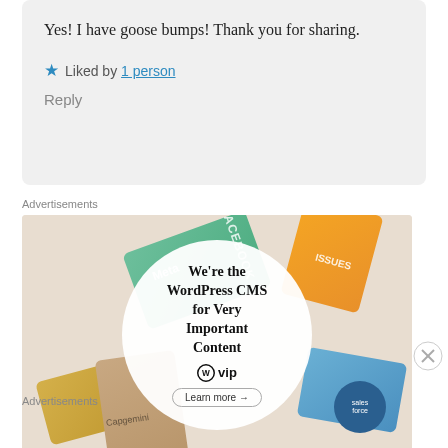Yes! I have goose bumps! Thank you for sharing.
★ Liked by 1 person
Reply
Advertisements
[Figure (photo): WordPress VIP advertisement showing various brand cards (Meta, Facebook, Salesforce, etc.) arranged around a circular white overlay with text 'We're the WordPress CMS for Very Important Content' and WordPress VIP logo with Learn more button]
Advertisements